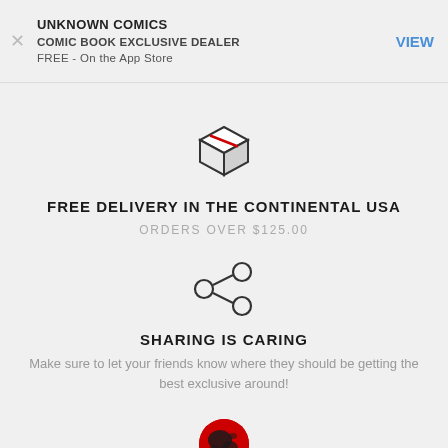UNKNOWN COMICS
COMIC BOOK EXCLUSIVE DEALER
FREE - On the App Store
[Figure (illustration): Box/package icon with red stripe on top, dark outline, isometric view]
FREE DELIVERY IN THE CONTINENTAL USA
ORDERS OVER $125.00
[Figure (illustration): Share network icon: three circles connected by lines]
SHARING IS CARING
Make sure to let your friends know where they should be getting the best exclusive around!
[Figure (logo): Round red logo with black world/globe graphic]